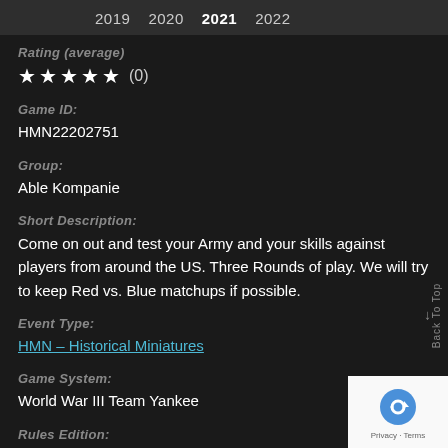2019  2020  2021  2022
Rating (average)
★★★★★ (0)
Game ID:
HMN22202751
Group:
Able Kompanie
Short Description:
Come on out and test your Army and your skills against players from around the US. Three Rounds of play. We will try to keep Red vs. Blue matchups if possible.
Event Type:
HMN – Historical Miniatures
Game System:
World War III Team Yankee
Rules Edition:
2nd